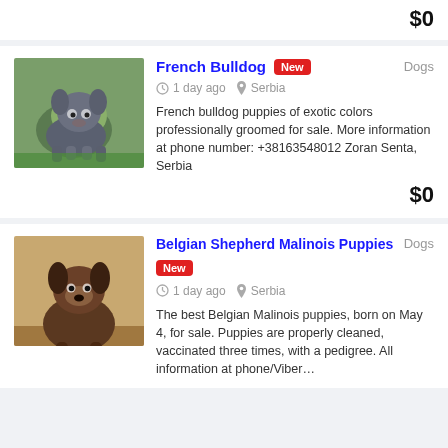$0
French Bulldog
New
Dogs
1 day ago   Serbia
French bulldog puppies of exotic colors professionally groomed for sale. More information at phone number: +38163548012 Zoran Senta, Serbia
$0
[Figure (photo): French Bulldog puppy on grass]
Belgian Shepherd Malinois Puppies
New
Dogs
1 day ago   Serbia
The best Belgian Malinois puppies, born on May 4, for sale. Puppies are properly cleaned, vaccinated three times, with a pedigree. All information at phone/Viber…
[Figure (photo): Belgian Shepherd Malinois puppy]